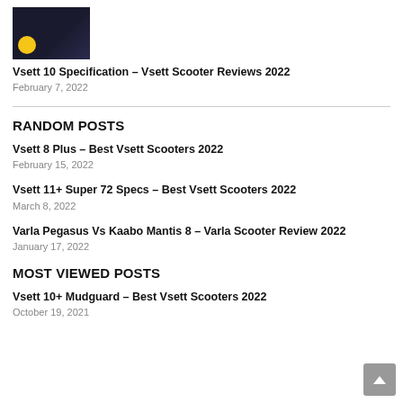[Figure (photo): Thumbnail image of a scooter, dark background with yellow badge]
Vsett 10 Specification – Vsett Scooter Reviews 2022
February 7, 2022
RANDOM POSTS
Vsett 8 Plus – Best Vsett Scooters 2022
February 15, 2022
Vsett 11+ Super 72 Specs – Best Vsett Scooters 2022
March 8, 2022
Varla Pegasus Vs Kaabo Mantis 8 – Varla Scooter Review 2022
January 17, 2022
MOST VIEWED POSTS
Vsett 10+ Mudguard – Best Vsett Scooters 2022
October 19, 2021